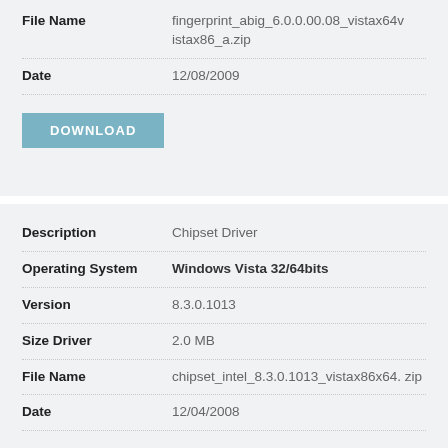| Field | Value |
| --- | --- |
| File Name | fingerprint_abig_6.0.0.00.08_vistax64vistax86_a.zip |
| Date | 12/08/2009 |
DOWNLOAD
| Field | Value |
| --- | --- |
| Description | Chipset Driver |
| Operating System | Windows Vista 32/64bits |
| Version | 8.3.0.1013 |
| Size Driver | 2.0 MB |
| File Name | chipset_intel_8.3.0.1013_vistax86x64.zip |
| Date | 12/04/2008 |
DOWNLOAD